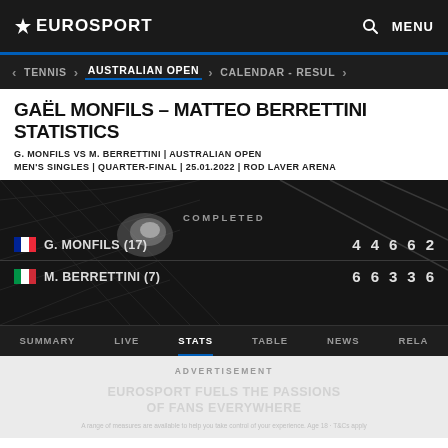EUROSPORT
TENNIS > AUSTRALIAN OPEN > CALENDAR - RESUL >
GAËL MONFILS - MATTEO BERRETTINI STATISTICS
G. MONFILS VS M. BERRETTINI | AUSTRALIAN OPEN
MEN'S SINGLES | QUARTER-FINAL | 25.01.2022 | ROD LAVER ARENA
[Figure (screenshot): Tennis match score panel showing COMPLETED status. G. MONFILS (17) scored 4 4 6 6 2, M. BERRETTINI (7) scored 6 6 3 3 6. Background shows tennis net imagery.]
SUMMARY   LIVE   STATS   TABLE   NEWS   RELA
ADVERTISEMENT
EUROSPORT FUELS THE PASSIONS OF FANS EVERYWHERE